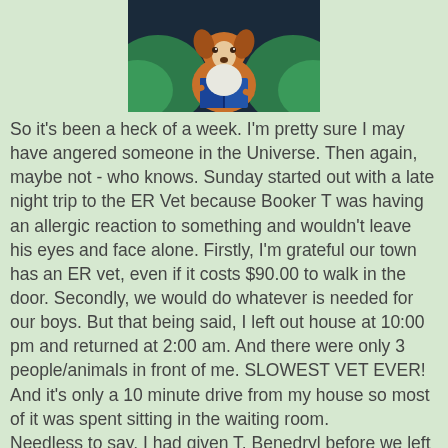[Figure (illustration): A painting of a dog (appears to be a Collie or similar breed) sitting and reading a book, with green foliage in the background.]
So it's been a heck of a week.  I'm pretty sure I may have angered someone in the Universe.  Then again, maybe not - who knows.  Sunday started out with a late night trip to the ER Vet because Booker T was having an allergic reaction to something and wouldn't leave his eyes and face alone.  Firstly, I'm grateful our town has an ER vet, even if it costs $90.00 to walk in the door.  Secondly, we would do whatever is needed for our boys.  But that being said, I left out house at 10:00 pm and returned at 2:00 am.  And there were only 3 people/animals in front of me.  SLOWEST VET EVER! And it's only a 10 minute drive from my house so most of it was spent sitting in the waiting room.
Needless to say, I had given T. Benedryl before we left the house and he was doing better by the time we even saw the vet but he got a shot and some pills just to make sure.  And FYI, the correct Benadryl dose for a dog is 1 mg per 1 lb of weight.  I know what taking 4 would do to me, I can't imagine giving that to my dog!  All is well now.